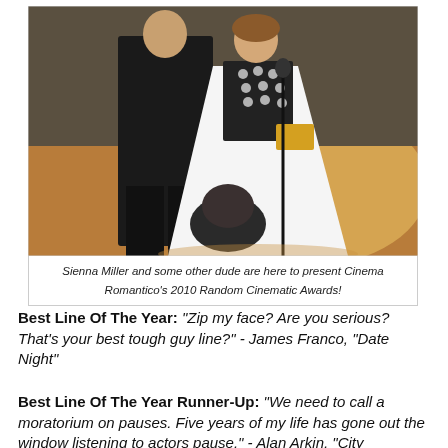[Figure (photo): Two people standing on a stage at an awards ceremony; a person in a black suit and a woman in a white flowing gown with patterned top holding an envelope, and a third person crouching at the bottom center.]
Sienna Miller and some other dude are here to present Cinema Romantico's 2010 Random Cinematic Awards!
Best Line Of The Year: "Zip my face? Are you serious? That's your best tough guy line?" - James Franco, "Date Night"
Best Line Of The Year Runner-Up:  "We need to call a moratorium on pauses.  Five years of my life has gone out the window listening to actors pause." - Alan Arkin, "City